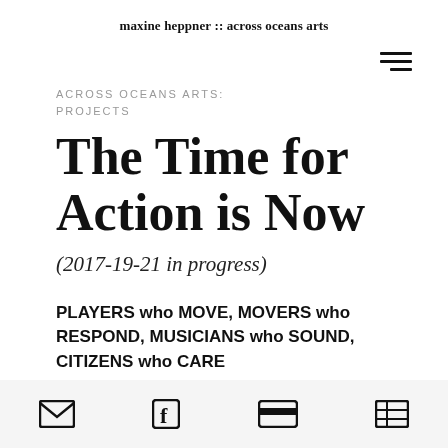maxine heppner :: across oceans arts
ACROSS OCEANS ARTS: PROJECTS
The Time for Action is Now
(2017-19-21 in progress)
PLAYERS who MOVE, MOVERS who RESPOND, MUSICIANS who SOUND, CITIZENS who CARE
[email icon] [facebook icon] [card icon] [list icon]